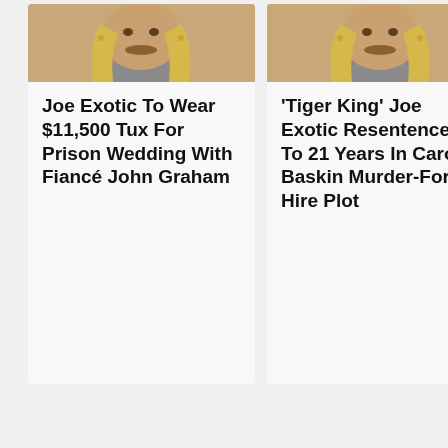[Figure (photo): Mugshot-style photo of a person with long blonde hair and a mustache]
Joe Exotic To Wear $11,500 Tux For Prison Wedding With Fiancé John Graham
[Figure (photo): Mugshot-style photo of a person with long blonde hair and a mustache]
'Tiger King' Joe Exotic Resentenced To 21 Years In Carole Baskin Murder-For-Hire Plot